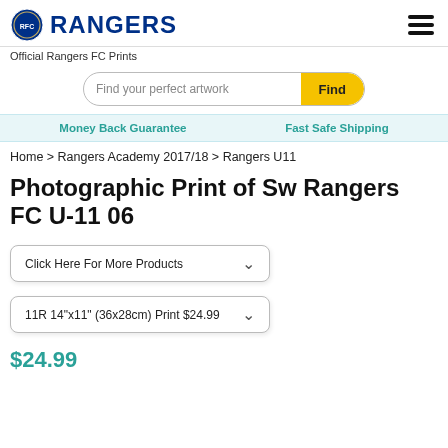RANGERS — Official Rangers FC Prints
Find your perfect artwork
Money Back Guarantee   Fast Safe Shipping
Home > Rangers Academy 2017/18 > Rangers U11
Photographic Print of Sw Rangers FC U-11 06
Click Here For More Products
11R 14"x11" (36x28cm) Print $24.99
$24.99